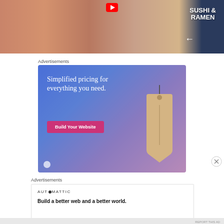[Figure (screenshot): YouTube video thumbnail showing sushi and ramen assortment on a tray, with text 'SUSHI & RAMEN' in white on the right side and a white arrow pointing left]
Advertisements
[Figure (screenshot): Advertisement banner with blue-purple gradient background. Text reads 'Simplified pricing for everything you need.' with a pink 'Build Your Website' button and a beige price tag illustration on the right.]
[Figure (other): Close/dismiss button (circled X) on the right side]
Advertisements
[Figure (screenshot): Automattic advertisement: logo 'AUT⊙MATTIC' at top left, text 'Build a better web and a better world.']